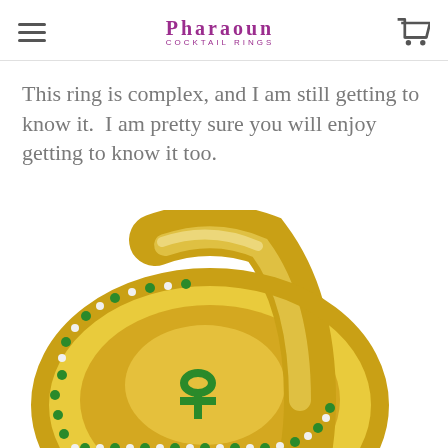PHARAOUN COCKTAIL RINGS
This ring is complex, and I am still getting to know it.  I am pretty sure you will enjoy getting to know it too.
[Figure (photo): Close-up photograph of a gold cocktail ring with green gemstone accents around the border and a green decorative element in the center, viewed from a side angle showing the band crossing over the oval setting.]